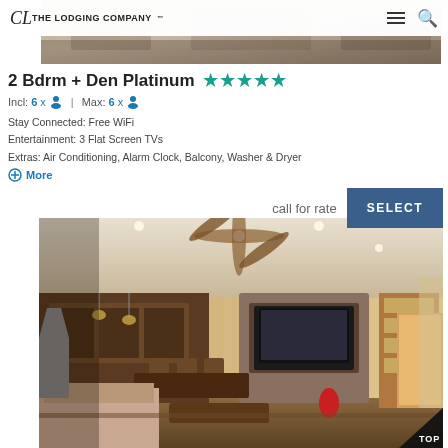The Lodging Company
[Figure (photo): Top partial photo of lodging property exterior or interior, partially visible at top of page]
2 Bdrm + Den Platinum ★★★★★
Incl: 6x 👤 | Max: 6x 👤
Stay Connected: Free WiFi
Entertainment: 3 Flat Screen TVs
Extras: Air Conditioning, Alarm Clock, Balcony, Washer & Dryer
⊕ More
call for rate   SELECT
[Figure (photo): Interior photo of a luxury lodging unit showing living room with ceiling fan, stone fireplace with mounted TV, wood bookshelves, kitchen area in background, dining chairs, and decorative furnishings]